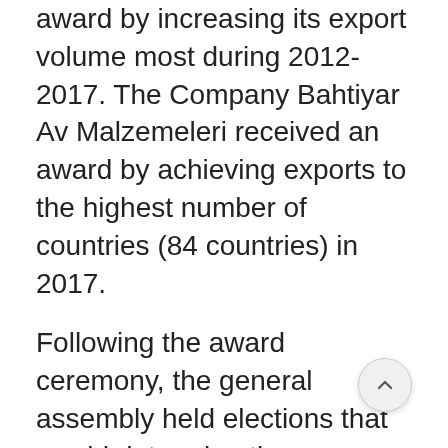award by increasing its export volume most during 2012-2017. The Company Bahtiyar Av Malzemeleri received an award by achieving exports to the highest number of countries (84 countries) in 2017.
Following the award ceremony, the general assembly held elections that would determine the new management. In the election based on a single list prepared by Latif Aral Aliş, with a single change in the executive board of the previous term, a selection was made with the votes of all members attending the general assembly and assignments were made for four years. Yurttaş İnşaat that was assigned last year to the management would be representing the Assembly as a Delegate of TİM and Havelsan was assigned to the management of the Assembly instead. The New Executive Board of the SSI consists of the following companies; Sarsılmaz (President), TAI, Aselsan, Roketsan, Havelsan, MKEK, FNSS, Alp Aviation, Bahtiyar Av Malzemeleri, Yonca-Onuk, S.S